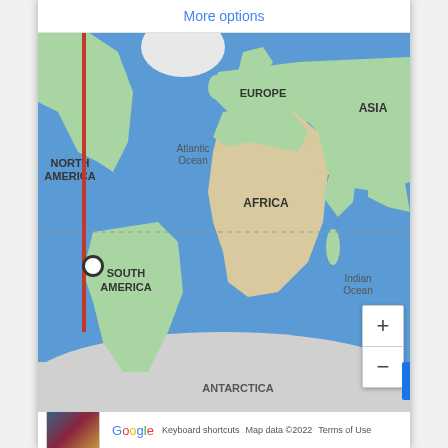More options
[Figure (map): Google Maps world map view showing all continents with ocean labels. Shows North America, South America, Europe, Asia, Africa, Antarctica. Labels include Atlantic Ocean, Indian Ocean, EUROPE, AFRICA, ASIA, NORTH AMERICA, SOUTH AMERICA, ANTARCTICA. Equator shown as dashed line. Red vertical route line on left side with circular pin marker. Zoom controls (+/-) in lower right. Map data copyright 2022.]
Keyboard shortcuts   Map data ©2022   Terms of Use